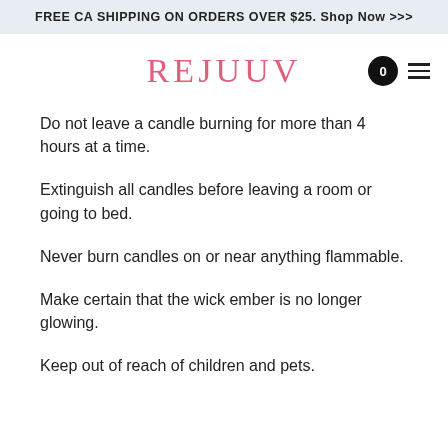FREE CA SHIPPING ON ORDERS OVER $25. Shop Now >>>
[Figure (logo): REJUUV brand logo in pink/rose serif font, with cart icon (circle with 0) and hamburger menu icon on the right]
Do not leave a candle burning for more than 4 hours at a time.
Extinguish all candles before leaving a room or going to bed.
Never burn candles on or near anything flammable.
Make certain that the wick ember is no longer glowing.
Keep out of reach of children and pets.